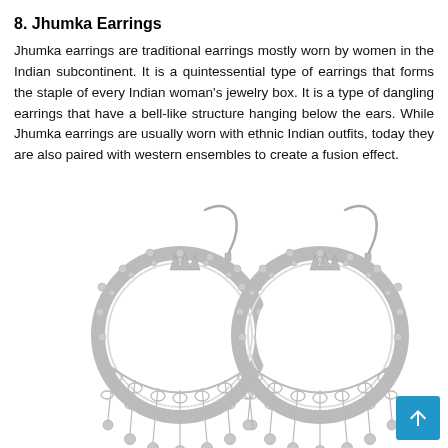8. Jhumka Earrings
Jhumka earrings are traditional earrings mostly worn by women in the Indian subcontinent.  It is a quintessential type of earrings that forms the staple of every Indian woman's jewelry box.  It is a type of dangling earrings that have a bell-like structure hanging below the ears.  While Jhumka earrings are usually worn with ethnic Indian outfits, today they are also paired with western ensembles to create a fusion effect.
[Figure (photo): Two silver Jhumka earrings with circular hoop design, ornate filigree border, and multiple dangling ball charms at the bottom, photographed on a white background.]